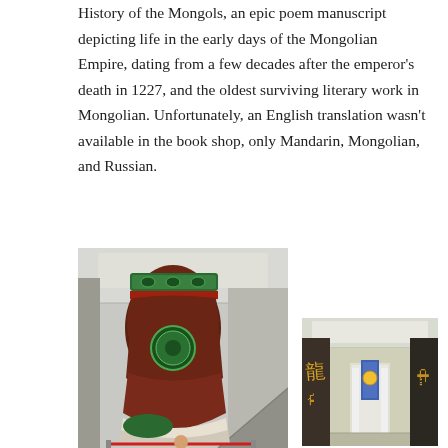History of the Mongols, an epic poem manuscript depicting life in the early days of the Mongolian Empire, dating from a few decades after the emperor's death in 1227, and the oldest surviving literary work in Mongolian. Unfortunately, an English translation wasn't available in the book shop, only Mandarin, Mongolian, and Russian.
[Figure (photo): Large decorative Mongolian boot sculpture inside a museum or shopping center atrium, with a person standing at the base for scale. The boot features ornate green and red patterns. Visible staircase and columns in background.]
[Figure (photo): Interior of what appears to a museum or cultural center with large columns decorated with Mongolian script, a central display area with blue banner, and a bright skylight ceiling.]